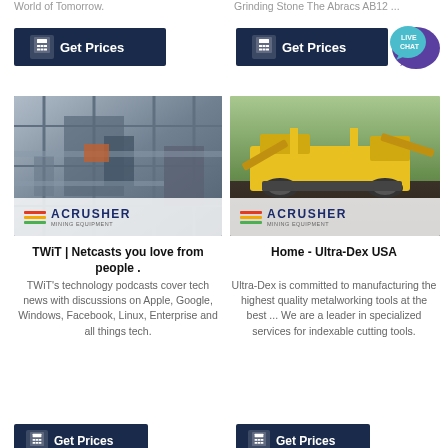World of Tomorrow.
Grinding Stone The Abracs AB12 ...
[Figure (screenshot): Get Prices button (left), dark navy background with calculator icon]
[Figure (screenshot): Get Prices button (right), dark navy background with calculator icon]
[Figure (photo): Industrial factory interior with metal scaffolding/equipment, ACRUSHER Mining Equipment logo overlay]
[Figure (photo): Outdoor yellow crushing/mining machine on dark gravel, ACRUSHER Mining Equipment logo overlay]
[Figure (infographic): Live Chat speech bubble icon, teal/purple color]
TWiT | Netcasts you love from people .
TWiT's technology podcasts cover tech news with discussions on Apple, Google, Windows, Facebook, Linux, Enterprise and all things tech.
Home - Ultra-Dex USA
Ultra-Dex is committed to manufacturing the highest quality metalworking tools at the best ... We are a leader in specialized services for indexable cutting tools.
[Figure (screenshot): Get Prices button (bottom left), dark navy background with calculator icon]
[Figure (screenshot): Get Prices button (bottom right), dark navy background with calculator icon]